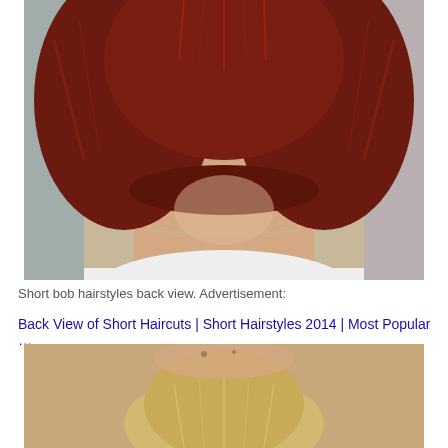[Figure (photo): Back view of a person with a short red bob haircut, neck visible with a thin necklace chain, wearing a white top, salon background]
Short bob hairstyles back view. Advertisement:
Back View of Short Haircuts | Short Hairstyles 2014 | Most Popular …
[Figure (photo): Back view of a person with blonde hair in an updo, close-up showing the back of the neck and head]